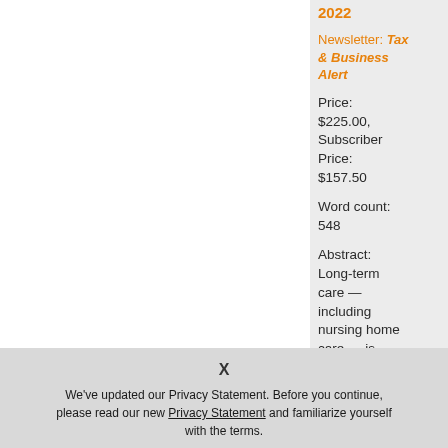2022
Newsletter: Tax & Business Alert
Price: $225.00, Subscriber Price: $157.50
Word count: 548
Abstract: Long-term care — including nursing home care — is
X
We've updated our Privacy Statement. Before you continue, please read our new Privacy Statement and familiarize yourself with the terms.